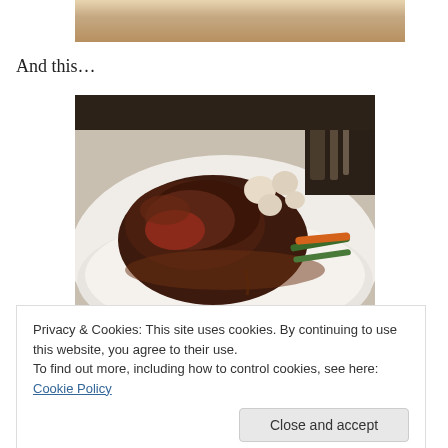[Figure (photo): Partial view of a plate or dish, cropped at top of page]
And this…
[Figure (photo): A large seared steak on a white plate garnished with small onions/garlic cloves and roasted vegetables including carrots and asparagus, served at a restaurant]
Privacy & Cookies: This site uses cookies. By continuing to use this website, you agree to their use.
To find out more, including how to control cookies, see here: Cookie Policy
Close and accept
You should go read this